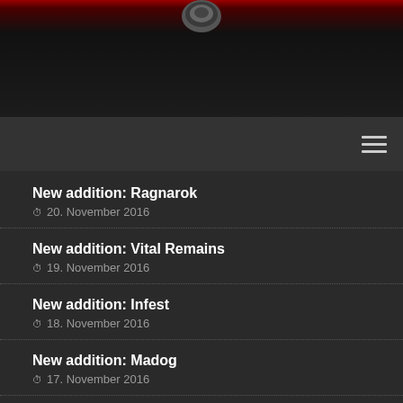[Figure (photo): Dark website header banner with red gradient at top and a circular logo/icon in the center top area]
≡ (hamburger menu icon)
New addition: Ragnarok
20. November 2016
New addition: Vital Remains
19. November 2016
New addition: Infest
18. November 2016
New addition: Madog
17. November 2016
New addition: Ranz